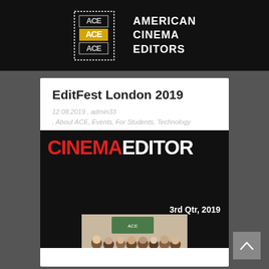[Figure (logo): ACE American Cinema Editors logo with stacked ACE text in yellow/white on dark background with white dotted border, and 'AMERICAN CINEMA EDITORS' text to the right]
EditFest London 2019
12.08.2019 , admin33
, About ACE, Events, For Students, Technology
[Figure (screenshot): Cinema Editor magazine cover showing 'CINEMAEDITOR' in large text (CINEMA in red, EDITOR in white) on black background, with '3rd Qtr, 2019' text and a photo of a crowd of people below]